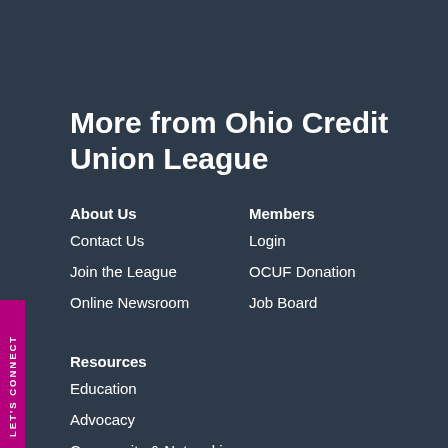More from Ohio Credit Union League
About Us
Contact Us
Join the League
Online Newsroom
Members
Login
OCUF Donation
Job Board
Resources
Education
Advocacy
Community & Networking
Member Support
OCUL Services Corp